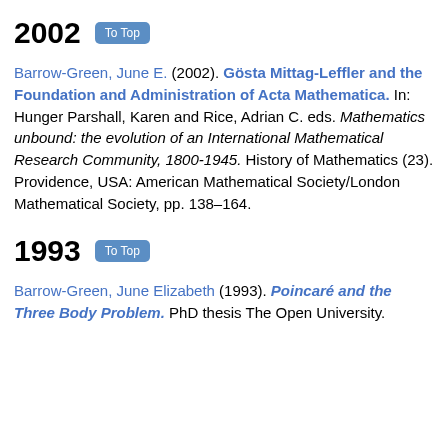2002  To Top
Barrow-Green, June E. (2002). Gösta Mittag-Leffler and the Foundation and Administration of Acta Mathematica. In: Hunger Parshall, Karen and Rice, Adrian C. eds. Mathematics unbound: the evolution of an International Mathematical Research Community, 1800-1945. History of Mathematics (23). Providence, USA: American Mathematical Society/London Mathematical Society, pp. 138–164.
1993  To Top
Barrow-Green, June Elizabeth (1993). Poincaré and the Three Body Problem. PhD thesis The Open University.